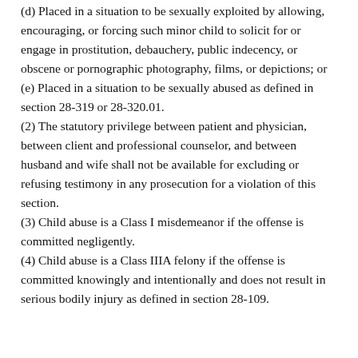(d) Placed in a situation to be sexually exploited by allowing, encouraging, or forcing such minor child to solicit for or engage in prostitution, debauchery, public indecency, or obscene or pornographic photography, films, or depictions; or
(e) Placed in a situation to be sexually abused as defined in section 28-319 or 28-320.01.
(2) The statutory privilege between patient and physician, between client and professional counselor, and between husband and wife shall not be available for excluding or refusing testimony in any prosecution for a violation of this section.
(3) Child abuse is a Class I misdemeanor if the offense is committed negligently.
(4) Child abuse is a Class IIIA felony if the offense is committed knowingly and intentionally and does not result in serious bodily injury as defined in section 28-109.